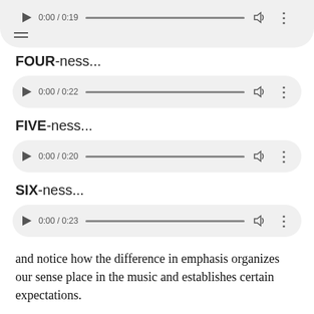[Figure (screenshot): Audio player controls showing 0:00 / 0:19 with progress bar, volume and menu icons, and hamburger menu below]
FOUR-ness...
[Figure (screenshot): Audio player controls showing 0:00 / 0:22 with progress bar, volume and menu icons]
FIVE-ness...
[Figure (screenshot): Audio player controls showing 0:00 / 0:20 with progress bar, volume and menu icons]
SIX-ness...
[Figure (screenshot): Audio player controls showing 0:00 / 0:23 with progress bar, volume and menu icons]
and notice how the difference in emphasis organizes our sense place in the music and establishes certain expectations.